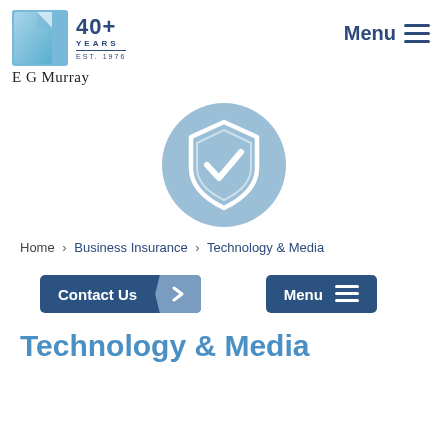[Figure (logo): E G Murray logo with page-curl icon, '40+ YEARS EST. 1976' text and company name]
[Figure (illustration): Light blue circle with white shield and checkmark icon in the center]
Home > Business Insurance > Technology & Media
Contact Us >
Menu ≡
Technology & Media